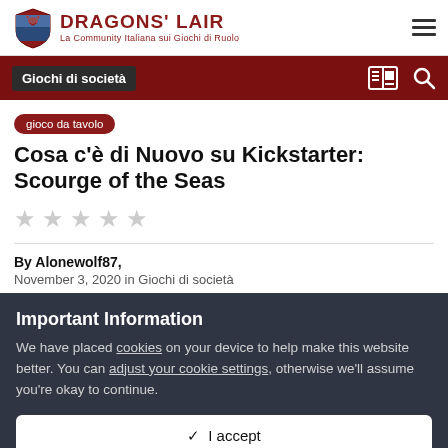DRAGONS' LAIR — La Community Italiana sui Giochi di Ruolo
Giochi di società
Cosa c'è di Nuovo su Kickstarter: Scourge of the Seas
gioco da tavolo
★★★★★ (empty stars)
By Alonewolf87,
November 3, 2020 in Giochi di società
Important Information
We have placed cookies on your device to help make this website better. You can adjust your cookie settings, otherwise we'll assume you're okay to continue.
✔ I accept